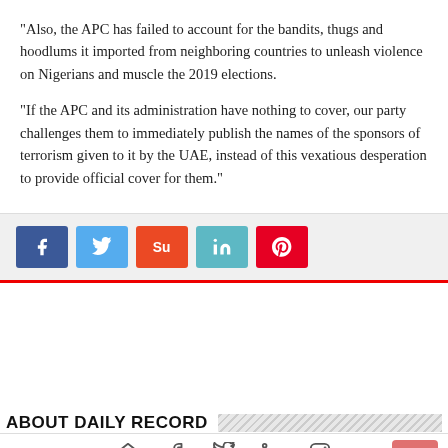“Also, the APC has failed to account for the bandits, thugs and hoodlums it imported from neighboring countries to unleash violence on Nigerians and muscle the 2019 elections.
“If the APC and its administration have nothing to cover, our party challenges them to immediately publish the names of the sponsors of terrorism given to it by the UAE, instead of this vexatious desperation to provide official cover for them.”
[Figure (infographic): Social media share buttons: Facebook (blue), Twitter (light blue), StumbleUpon (orange-red), LinkedIn (teal), Pinterest (red)]
ABOUT DAILY RECORD
[Figure (infographic): Footer navigation icons: home, facebook, twitter, linkedin, instagram. Back-to-top button (salmon/pink) with upward chevron on right side.]